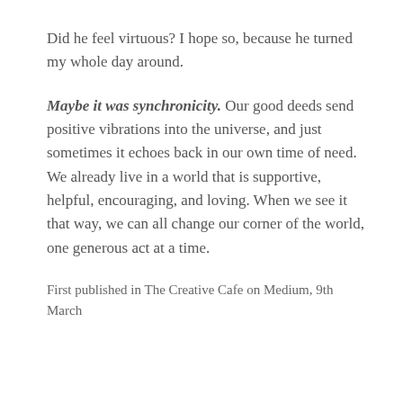Did he feel virtuous? I hope so, because he turned my whole day around.
Maybe it was synchronicity. Our good deeds send positive vibrations into the universe, and just sometimes it echoes back in our own time of need. We already live in a world that is supportive, helpful, encouraging, and loving. When we see it that way, we can all change our corner of the world, one generous act at a time.
First published in The Creative Cafe on Medium, 9th March